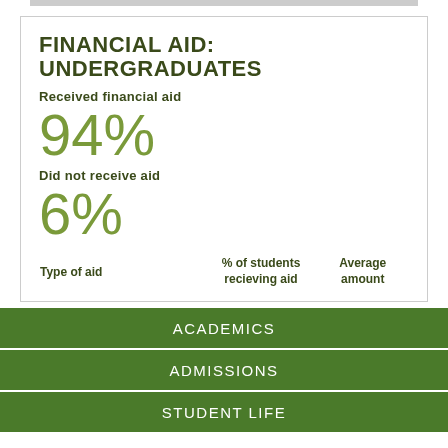FINANCIAL AID: UNDERGRADUATES
Received financial aid
94%
Did not receive aid
6%
| Type of aid | % of students recieving aid | Average amount |
| --- | --- | --- |
ACADEMICS
ADMISSIONS
STUDENT LIFE